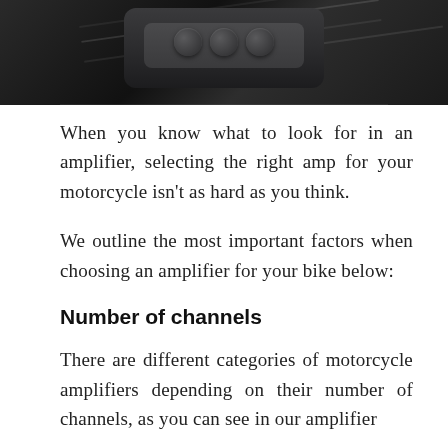[Figure (photo): Dark background photo showing a motorcycle amplifier device with circular buttons, viewed from above on a dark surface with light veining patterns]
When you know what to look for in an amplifier, selecting the right amp for your motorcycle isn't as hard as you think.
We outline the most important factors when choosing an amplifier for your bike below:
Number of channels
There are different categories of motorcycle amplifiers depending on their number of channels, as you can see in our amplifier